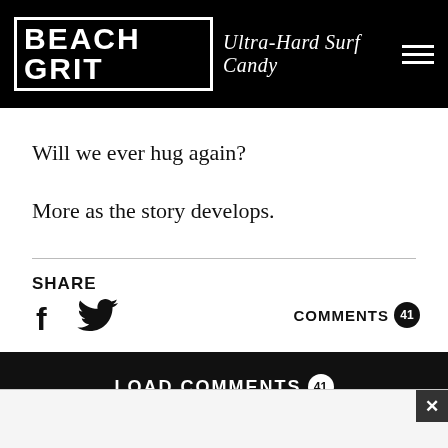BEACH GRIT Ultra-Hard Surf Candy
Will we ever hug again?
More as the story develops.
SHARE
COMMENTS 41
LOAD COMMENTS 41